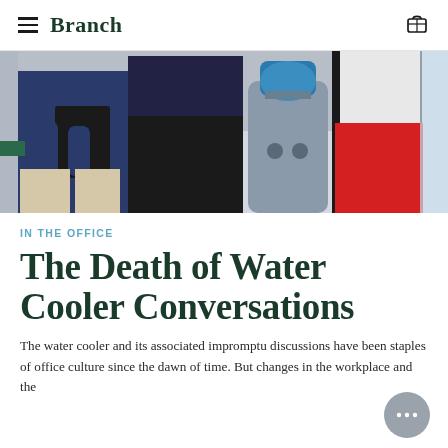Branch
[Figure (photo): Three people standing near a water cooler in an office, cropped at waist level. One person wears a navy blue sweater and holds a black folder, the middle person wears a black skirt, and the right person wears a red skirt and white top.]
IN THE OFFICE
The Death of Water Cooler Conversations
The water cooler and its associated impromptu discussions have been staples of office culture since the dawn of time. But changes in the workplace and the